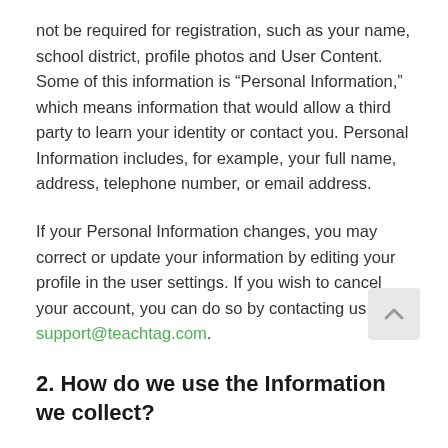not be required for registration, such as your name, school district, profile photos and User Content. Some of this information is “Personal Information,” which means information that would allow a third party to learn your identity or contact you. Personal Information includes, for example, your full name, address, telephone number, or email address.
If your Personal Information changes, you may correct or update your information by editing your profile in the user settings. If you wish to cancel your account, you can do so by contacting us at support@teachtag.com.
2. How do we use the Information we collect?
We use this information to provide our Products to you and make them better, develop new products